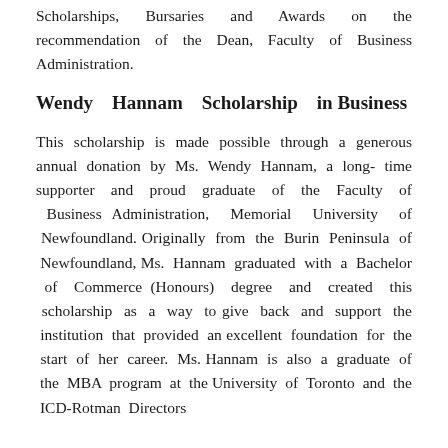Scholarships, Bursaries and Awards on the recommendation of the Dean, Faculty of Business Administration.
Wendy Hannam Scholarship in Business
This scholarship is made possible through a generous annual donation by Ms. Wendy Hannam, a long- time supporter and proud graduate of the Faculty of Business Administration, Memorial University of Newfoundland. Originally from the Burin Peninsula of Newfoundland, Ms. Hannam graduated with a Bachelor of Commerce (Honours) degree and created this scholarship as a way to give back and support the institution that provided an excellent foundation for the start of her career. Ms. Hannam is also a graduate of the MBA program at the University of Toronto and the ICD-Rotman Directors